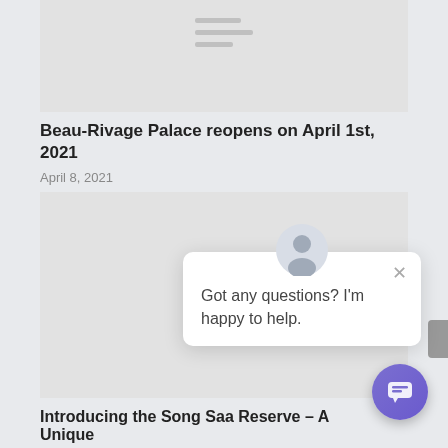[Figure (screenshot): Top placeholder image with hamburger menu icon lines, light gray background]
Beau-Rivage Palace reopens on April 1st, 2021
April 8, 2021
[Figure (screenshot): Second article placeholder image, light gray background]
[Figure (screenshot): Chat popup UI with avatar, close button, and message: Got any questions? I'm happy to help. With purple chat launcher button.]
Introducing the Song Saa Reserve – A Unique